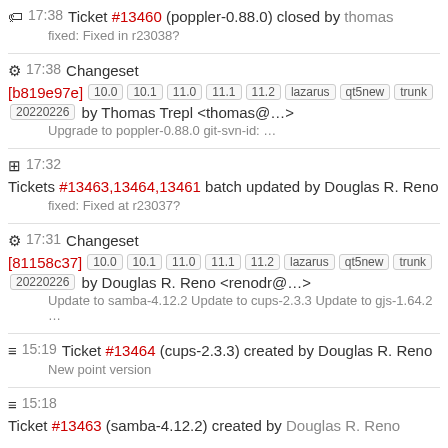17:38 Ticket #13460 (poppler-0.88.0) closed by thomas
fixed: Fixed in r23038?
17:38 Changeset [b819e97e] 10.0 10.1 11.0 11.1 11.2 lazarus qt5new trunk 20220226 by Thomas Trepl <thomas@...>
Upgrade to poppler-0.88.0 git-svn-id: …
17:32 Tickets #13463,13464,13461 batch updated by Douglas R. Reno
fixed: Fixed at r23037?
17:31 Changeset [81158c37] 10.0 10.1 11.0 11.1 11.2 lazarus qt5new trunk 20220226 by Douglas R. Reno <renodr@...>
Update to samba-4.12.2 Update to cups-2.3.3 Update to gjs-1.64.2 …
15:19 Ticket #13464 (cups-2.3.3) created by Douglas R. Reno
New point version
15:18 Ticket #13463 (samba-4.12.2) created by Douglas R. Reno